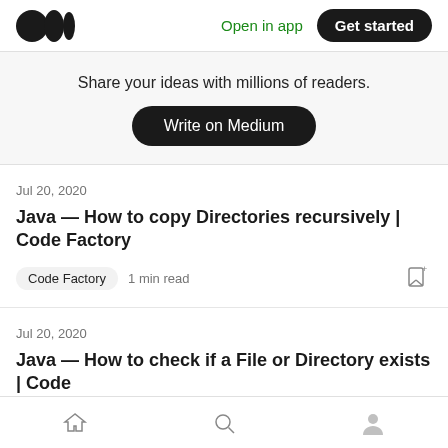Medium logo | Open in app | Get started
Share your ideas with millions of readers.
Write on Medium
Jul 20, 2020
Java — How to copy Directories recursively | Code Factory
Code Factory  1 min read
Jul 20, 2020
Java — How to check if a File or Directory exists | Code
Home | Search | Profile